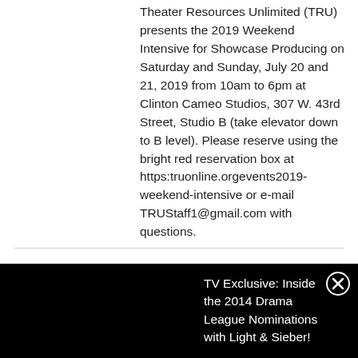Theater Resources Unlimited (TRU) presents the 2019 Weekend Intensive for Showcase Producing on Saturday and Sunday, July 20 and 21, 2019 from 10am to 6pm at Clinton Cameo Studios, 307 W. 43rd Street, Studio B (take elevator down to B level). Please reserve using the bright red reservation box at https:truonline.orgevents2019-weekend-intensive or e-mail TRUStaff1@gmail.com with questions.
TV Exclusive: Inside the 2014 Drama League Nominations with Light & Sieber!